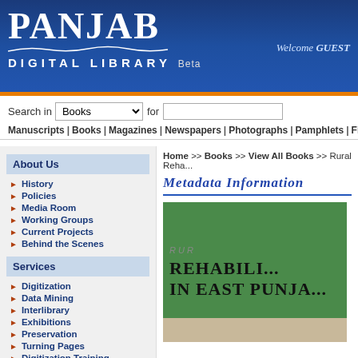[Figure (logo): Panjab Digital Library logo with white text on dark blue background, wave decoration, and Beta label]
Welcome GUEST
Search in Books for
Manuscripts | Books | Magazines | Newspapers | Photographs | Pamphlets | Files
About Us
History
Policies
Media Room
Working Groups
Current Projects
Behind the Scenes
Services
Digitization
Data Mining
Interlibrary
Exhibitions
Preservation
Turning Pages
Digitization Training
General Info
Jobs
Team
Home >> Books >> View All Books >> Rural Reha...
Metadata Information
[Figure (photo): Book cover showing text REHABILI... IN EAST PUNJA... on green background]